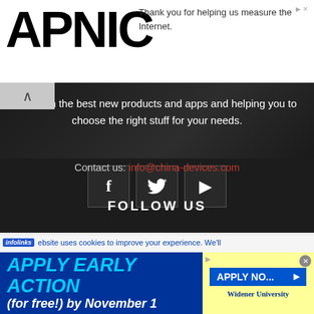[Figure (logo): APNIC logo in large black bold text]
Thank you for helping us measure the Internet.
-date on the best new products and apps and helping you to choose the right stuff for your needs.
Contact us: info@china-devices.com
FOLLOW US
[Figure (infographic): Three social media icon boxes: Facebook (f), Twitter (bird), YouTube (play button)]
infolinks — ebsite uses cookies to improve your experience. We'll
[Figure (infographic): Advertisement banner: APPLY EARLY ACTION (for free!) by November 1 — Widener University APPLY NOW button]